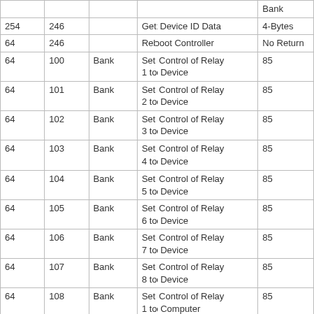|  |  |  |  | Bank |
| --- | --- | --- | --- | --- |
| 254 | 246 |  | Get Device ID Data | 4-Bytes |
| 64 | 246 |  | Reboot Controller | No Return |
| 64 | 100 | Bank | Set Control of Relay 1 to Device | 85 |
| 64 | 101 | Bank | Set Control of Relay 2 to Device | 85 |
| 64 | 102 | Bank | Set Control of Relay 3 to Device | 85 |
| 64 | 103 | Bank | Set Control of Relay 4 to Device | 85 |
| 64 | 104 | Bank | Set Control of Relay 5 to Device | 85 |
| 64 | 105 | Bank | Set Control of Relay 6 to Device | 85 |
| 64 | 106 | Bank | Set Control of Relay 7 to Device | 85 |
| 64 | 107 | Bank | Set Control of Relay 8 to Device | 85 |
| 64 | 108 | Bank | Set Control of Relay 1 to Computer | 85 |
| 64 | 109 | Bank | Set Control of Relay 2 to Computer | 85 |
| 64 | 110 | Bank | Set Control of Relay 3 to Computer | 85 |
| 64 | 111 | Bank | Set Control of Relay | 85 |